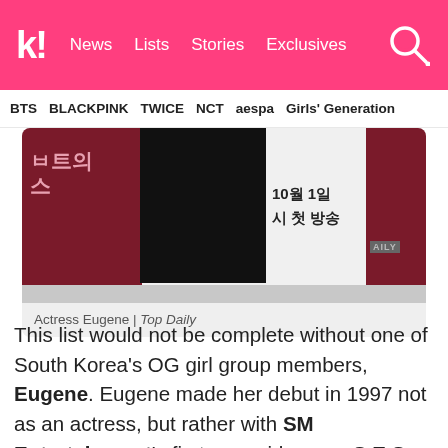k! News Lists Stories Exclusives
BTS  BLACKPINK  TWICE  NCT  aespa  Girls' Generation
[Figure (photo): Photo of actress Eugene at a press event, standing in front of a promotional backdrop with Korean text. The backdrop shows dark red/maroon panels and a white panel with Korean text. Labeled 'AILY' on the right side.]
Actress Eugene | Top Daily
This list would not be complete without one of South Korea's OG girl group members, Eugene. Eugene made her debut in 1997 not as an actress, but rather with SM Entertainment's first ever girl group, S.E.S. The girl group saw immediate success, as they went on to experience nationwide popularity almost overnight. Since their disbandment in 2002,